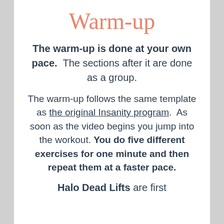Warm-up
The warm-up is done at your own pace.  The sections after it are done as a group.
The warm-up follows the same template as the original Insanity program.  As soon as the video begins you jump into the workout. You do five different exercises for one minute and then repeat them at a faster pace.
Halo Dead Lifts are first